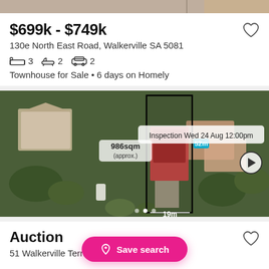[Figure (photo): Top strip showing partial property images]
$699k - $749k
130e North East Road, Walkerville SA 5081
3 bedrooms, 2 bathrooms, 2 car spaces
Townhouse for Sale • 6 days on Homely
[Figure (photo): Aerial map view of property at 130e North East Road, Walkerville. Shows land size 986sqm (approx.), property outline, inspection label 'Inspection Wed 24 Aug 12:00pm', measurements 19m width and 52m depth. Video play button visible.]
Auction
51 Walkerville Terrace, ... 81